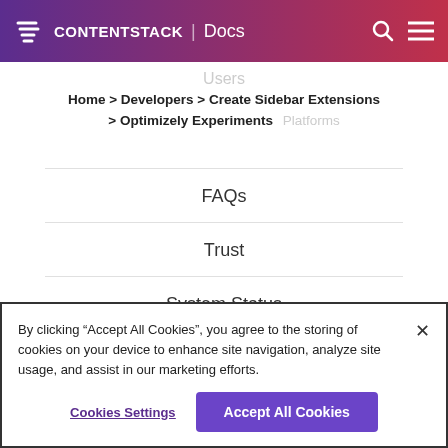CONTENTSTACK | Docs
Users
Home > Developers > Create Sidebar Extensions > Optimizely Experiments
Platforms
FAQs
Trust
System Status
Education
By clicking “Accept All Cookies”, you agree to the storing of cookies on your device to enhance site navigation, analyze site usage, and assist in our marketing efforts.
Cookies Settings
Accept All Cookies